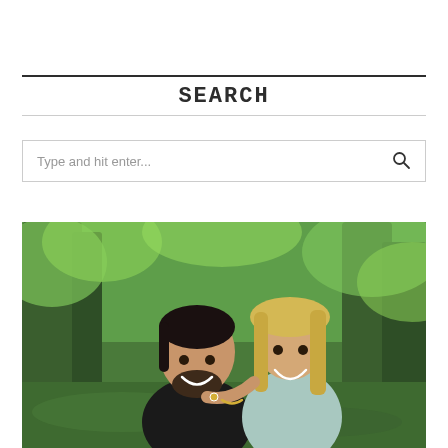SEARCH
[Figure (photo): Outdoor photo of a smiling couple in a green wooded setting. A dark-haired bearded man in a black shirt and a blonde woman in a light blue top lean close together, smiling.]